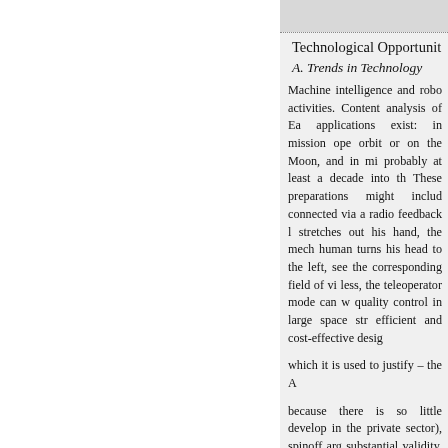Technological Opportunit…
A. Trends in Technology
Machine intelligence and robo activities. Content analysis of Ea applications exist: in mission ope orbit or on the Moon, and in mi probably at least a decade into th These preparations might includ connected via a radio feedback l stretches out his hand, the mech human turns his head to the left, see the corresponding field of vi less, the teleoperator mode can w quality control in large space str efficient and cost-effective desig which it is used to justify – the A because there is so little develop in the private sector), spinoff arg substantial validity. In the long t prospecting and mining, convent